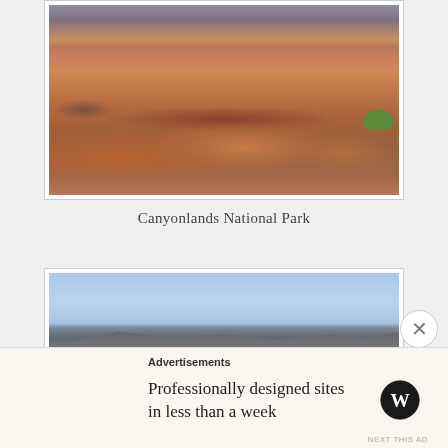[Figure (photo): Photograph of Canyonlands National Park showing red rock formations in the foreground with layered canyon walls and a canyon vista in the background, with some green shrubs visible on the right side]
Canyonlands National Park
[Figure (photo): Photograph of a mountainous landscape with dark mountain ridges in the foreground and hazy blue mountain ranges receding into the distance under a light blue sky]
Advertisements
Professionally designed sites in less than a week